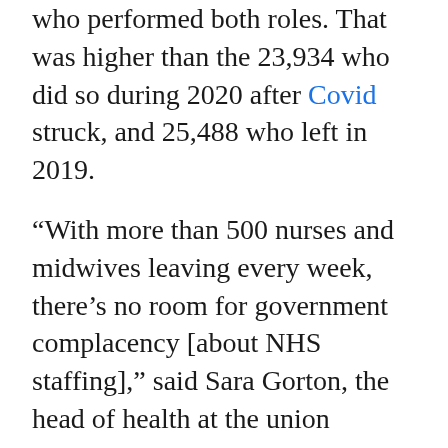who performed both roles. That was higher than the 23,934 who did so during 2020 after Covid struck, and 25,488 who left in 2019.
“With more than 500 nurses and midwives leaving every week, there’s no room for government complacency [about NHS staffing],” said Sara Gorton, the head of health at the union Unison.
Andrea Sutcliffe, the NMC’s chief executive, said that while the record number of nurses and midwives was good news, “a closer look at our data reveals some worrying signs”. She cited the large number of leavers and the fact that “those who left shared troubling stories about